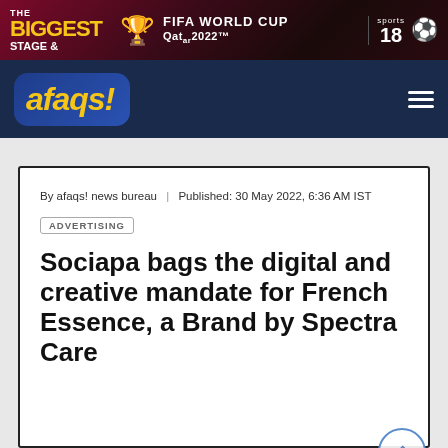[Figure (screenshot): FIFA World Cup Qatar 2022 advertisement banner on Sports18 channel]
[Figure (logo): afaqs! news website logo and navigation bar]
By afaqs! news bureau | Published: 30 May 2022, 6:36 AM IST
ADVERTISING
Sociapa bags the digital and creative mandate for French Essence, a Brand by Spectra Care